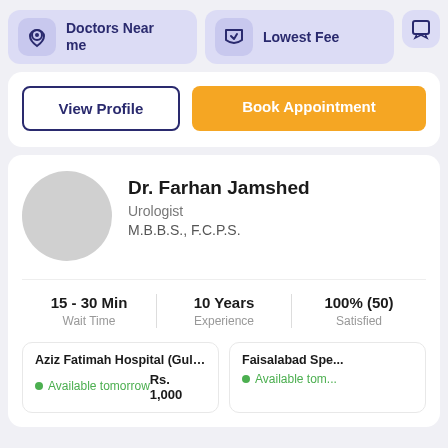[Figure (screenshot): Navigation bar with 'Doctors Near me', 'Lowest Fee', and a partial third button]
View Profile
Book Appointment
Dr. Farhan Jamshed
Urologist
M.B.B.S., F.C.P.S.
15 - 30 Min
Wait Time
10 Years
Experience
100% (50)
Satisfied
Aziz Fatimah Hospital (Gulistan Co...
Available tomorrow   Rs. 1,000
Faisalabad Spe...
Available tom...